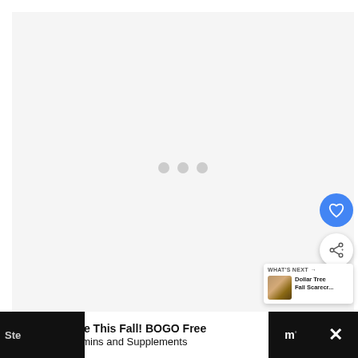[Figure (screenshot): Loading screen with three gray dots centered on a light gray background, indicating content is loading]
[Figure (screenshot): Blue circular FAB button with a white heart icon]
[Figure (screenshot): White circular FAB button with a share/add icon]
[Figure (screenshot): What's Next card showing thumbnail and text: Dollar Tree Fall Scarecr...]
[Figure (screenshot): Walgreens advertisement banner: Save This Fall! BOGO Free Vitamins and Supplements]